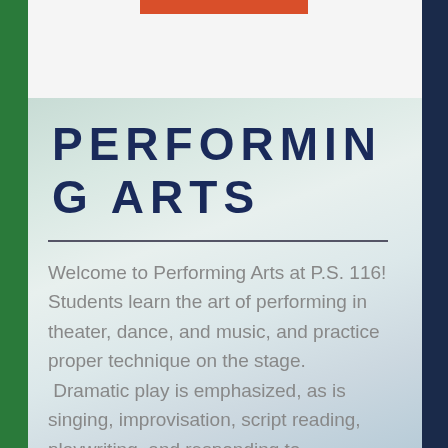PERFORMING ARTS
Welcome to Performing Arts at P.S. 116!  Students learn the art of performing in theater, dance, and music, and practice proper technique on the stage.  Dramatic play is emphasized, as is singing, improvisation, script reading, playwriting, and responding to professional and peer performances. It is my hope that all students understand that the art of performance is accessible to